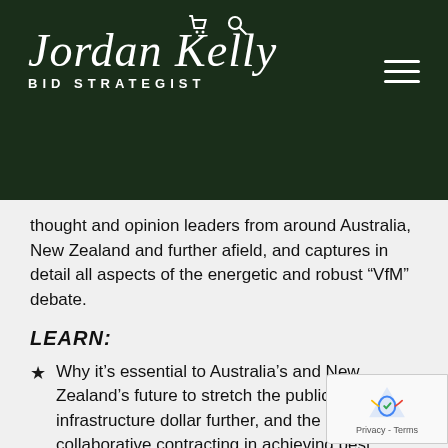[Figure (logo): Jordan Kelly Bid Strategist logo on dark green header background with cart and search icons and hamburger menu]
thought and opinion leaders from around Australia, New Zealand and further afield, and captures in detail all aspects of the energetic and robust “VfM” debate.
LEARN:
Why it’s essential to Australia’s and New Zealand’s future to stretch the public infrastructure dollar further, and the role of collaborative contracting in achieving best